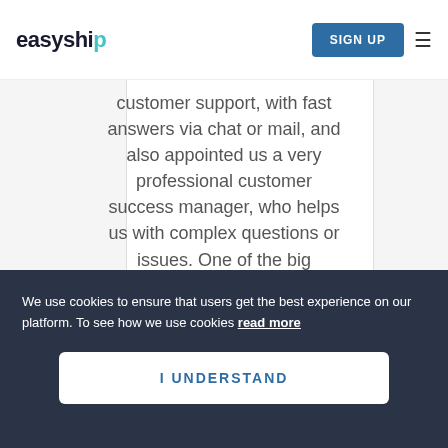easyship | SIGN UP
customer support, with fast answers via chat or mail, and also appointed us a very professional customer success manager, who helps us with complex questions or issues. One of the big advantages is the reports, which help us to get fast and accurate
We use cookies to ensure that users get the best experience on our platform. To see how we use cookies read more
I UNDERSTAND